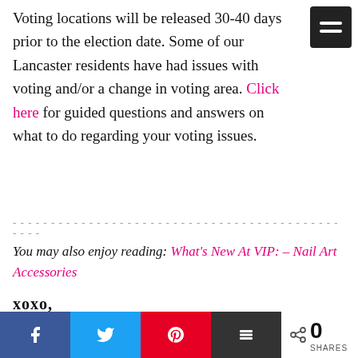Voting locations will be released 30-40 days prior to the election date. Some of our Lancaster residents have had issues with voting and/or a change in voting area. Click here for guided questions and answers on what to do regarding your voting issues.
- - - - - - - - - - - - - - - - - - - - - - - - - - - - - - - - - - - - - - - - - - - - - - -
You may also enjoy reading: What's New At VIP: – Nail Art Accessories
[Figure (other): Handwritten-style signature block reading 'xoxo, Rosalin']
[Figure (other): Social share buttons: Facebook, Twitter, Pinterest, Buffer; share count showing 0 SHARES]